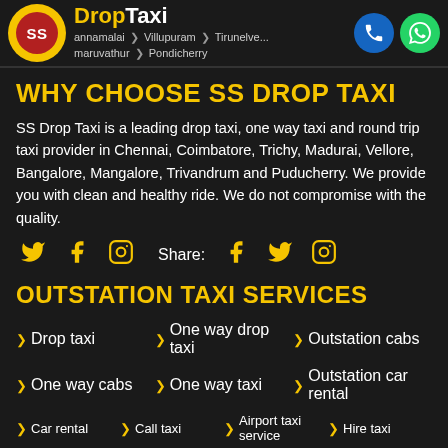SS DropTaxi — Annamalai > Villupuram > Tirunelveli | Maruvathur > Pondicherry
WHY CHOOSE SS DROP TAXI
SS Drop Taxi is a leading drop taxi, one way taxi and round trip taxi provider in Chennai, Coimbatore, Trichy, Madurai, Vellore, Bangalore, Mangalore, Trivandrum and Puducherry. We provide you with clean and healthy ride. We do not compromise with the quality.
OUTSTATION TAXI SERVICES
Drop taxi
One way drop taxi
Outstation cabs
One way cabs
One way taxi
Outstation car rental
Car rental
Call taxi
Airport taxi service
Hire taxi